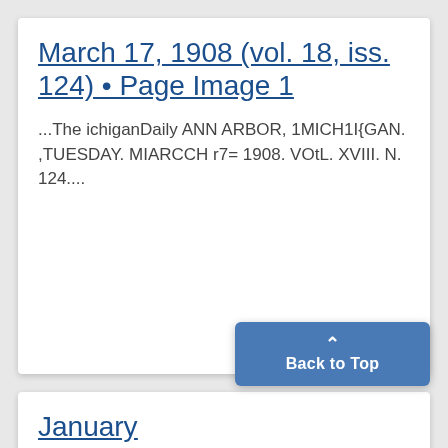March 17, 1908 (vol. 18, iss. 124) • Page Image 1
...The ichiganDaily ANN ARBOR, 1MICH1I{GAN. ,TUESDAY. MIARCCH r7= 1908. VOtL. XVIII. N. 124....
January 1908 (vo 18, iss. 8...